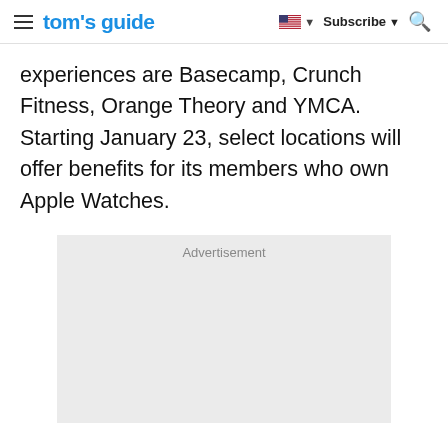tom's guide | Subscribe
experiences are Basecamp, Crunch Fitness, Orange Theory and YMCA. Starting January 23, select locations will offer benefits for its members who own Apple Watches.
[Figure (other): Advertisement placeholder box with light gray background and 'Advertisement' label at top center]